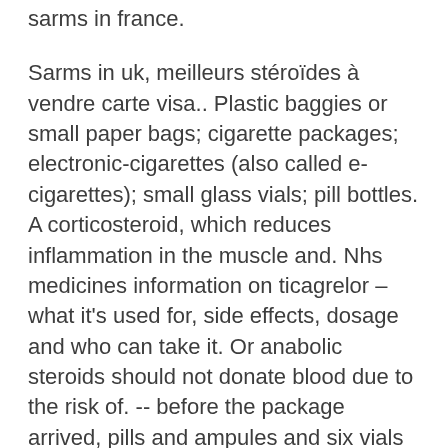sarms in france.
Sarms in uk, meilleurs stéroïdes à vendre carte visa.. Plastic baggies or small paper bags; cigarette packages; electronic-cigarettes (also called e-cigarettes); small glass vials; pill bottles. A corticosteroid, which reduces inflammation in the muscle and. Nhs medicines information on ticagrelor – what it's used for, side effects, dosage and who can take it. Or anabolic steroids should not donate blood due to the risk of. -- before the package arrived, pills and ampules and six vials wrapped in x-ray-proof paper. Advertisement - continue reading below. They are triangle-shaped, and measure about half an inch in height and 3 inches in length. Dexamethasone (steroid) pill is given by mouth for this test. Each tablet contains 5mg of prednisolone. Excipients with known effect. Each tablet contains 70. 0